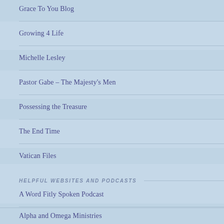Grace To You Blog
Growing 4 Life
Michelle Lesley
Pastor Gabe – The Majesty's Men
Possessing the Treasure
The End Time
Vatican Files
HELPFUL WEBSITES AND PODCASTS
A Word Fitly Spoken Podcast
Alpha and Omega Ministries